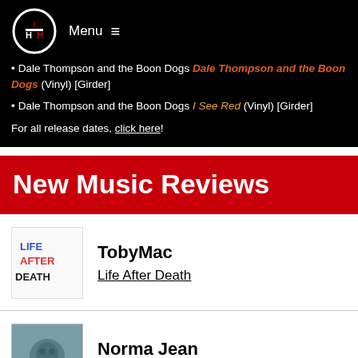[Figure (logo): IHH logo - white oval with IHH letters in red/white on black background]
Menu ≡
Dale Thompson and the Boon Dogs Dale Thompson and the Boon Dogs (Vinyl) [Girder]
Dale Thompson and the Boon Dogs I See Red (Vinyl) [Girder]
For all release dates, click here!
New Music Reviews
[Figure (photo): Album cover for TobyMac Life After Death - colorful text on white background saying LIFE AFTER DEATH]
TobyMac
Life After Death
[Figure (photo): Album cover for Norma Jean Deathrattle Sing for Me - dark bluish-grey image]
Norma Jean
Deathrattle Sing for Me